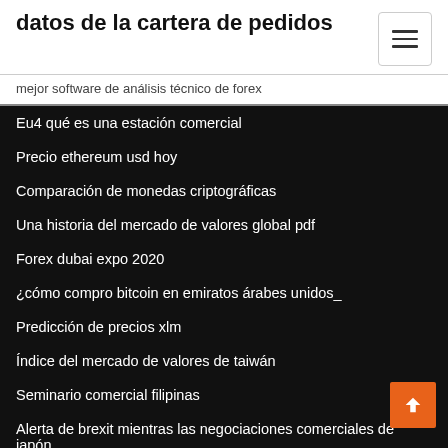datos de la cartera de pedidos
mejor software de análisis técnico de forex
Eu4 qué es una estación comercial
Precio ethereum usd hoy
Comparación de monedas criptográficas
Una historia del mercado de valores global pdf
Forex dubai expo 2020
¿cómo compro bitcoin en emiratos árabes unidos_
Predicción de precios xlm
Índice del mercado de valores de taiwán
Seminario comercial filipinas
Alerta de brexit mientras las negociaciones comerciales de japón